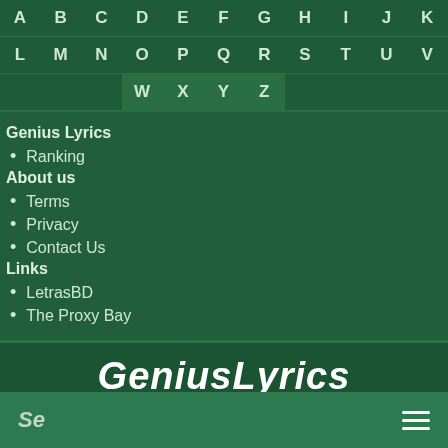[Figure (other): Alphabet navigation grid with letters A-Z arranged in rows on a dark green background]
Genius Lyrics
Ranking
About us
Terms
Privacy
Contact Us
Links
LetrasBD
The Proxy Bay
GeniusLyrics
Javier Garcia's nightmare · Made with ♥ in Buenos Aires
Se  ≡